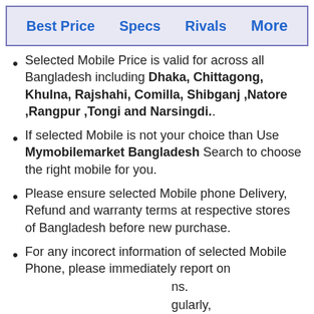Best Price  Specs  Rivals  More
Selected Mobile Price is valid for across all Bangladesh including Dhaka, Chittagong, Khulna, Rajshahi, Comilla, Shibganj ,Natore ,Rangpur ,Tongi and Narsingdi..
If selected Mobile is not your choice than Use Mymobilemarket Bangladesh Search to choose the right mobile for you.
Please ensure selected Mobile phone Delivery, Refund and warranty terms at respective stores of Bangladesh before new purchase.
For any incorect information of selected Mobile Phone, please immediately report on ...ns. ...gularly, Bangladesh